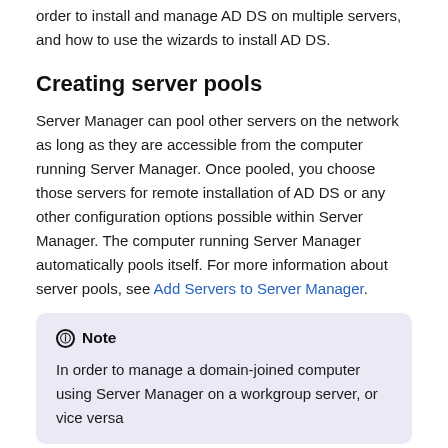order to install and manage AD DS on multiple servers, and how to use the wizards to install AD DS.
Creating server pools
Server Manager can pool other servers on the network as long as they are accessible from the computer running Server Manager. Once pooled, you choose those servers for remote installation of AD DS or any other configuration options possible within Server Manager. The computer running Server Manager automatically pools itself. For more information about server pools, see Add Servers to Server Manager.
Note
In order to manage a domain-joined computer using Server Manager on a workgroup server, or vice versa